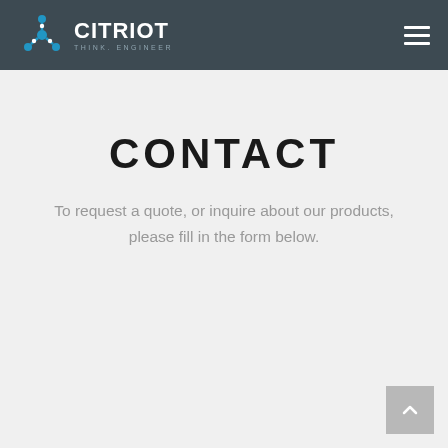CITRIOT THINK. ENGINEER
CONTACT
To request a quote, or inquire about our products, please fill in the form below.